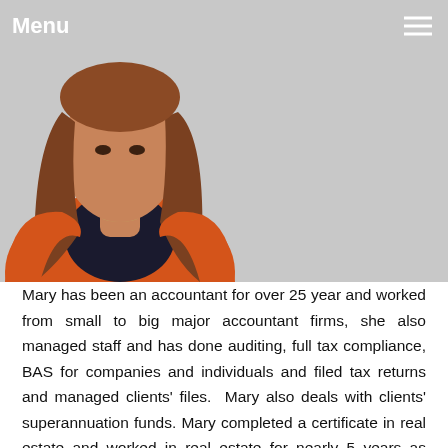Menu
[Figure (photo): Photo of a woman with long brown hair wearing an orange jacket over a dark top, cropped from shoulders up, against a grey background.]
Mary has been an accountant for over 25 year and worked from small to big major accountant firms, she also managed staff and has done auditing, full tax compliance, BAS for companies and individuals and filed tax returns and managed clients' files.  Mary also deals with clients' superannuation funds. Mary completed a certificate in real estate and worked in real estate for nearly 5 years as management agent. She has over 25 years in management affairs of corporate balance sheets, auditing and controlling the economic balances sheets.